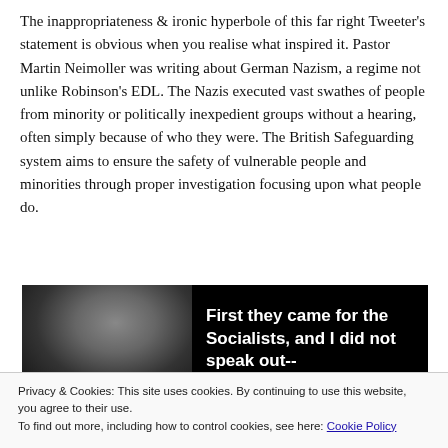The inappropriateness & ironic hyperbole of this far right Tweeter's statement is obvious when you realise what inspired it. Pastor Martin Neimoller was writing about German Nazism, a regime not unlike Robinson's EDL. The Nazis executed vast swathes of people from minority or politically inexpedient groups without a hearing, often simply because of who they were. The British Safeguarding system aims to ensure the safety of vulnerable people and minorities through proper investigation focusing upon what people do.
[Figure (photo): Black and white photo of a person on the left side, with bold white text on black background reading 'First they came for the Socialists, and I did not speak out--']
Privacy & Cookies: This site uses cookies. By continuing to use this website, you agree to their use. To find out more, including how to control cookies, see here: Cookie Policy
Close and accept